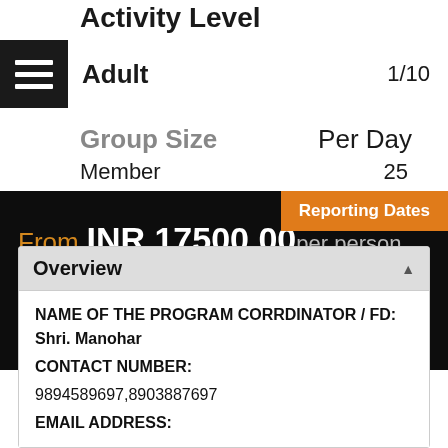Activity Level
Adult  1/10
Group Size  Per Day
Member  25
Reporting Dates
From INR 17500.00 per person
(AC Tempo Traveler, All Entry Tickets, All Parking & Tollgate, Twin sharing AC Room, Veg Food, Sightseeing and Guide)
Overview
NAME OF THE PROGRAM CORRDINATOR / FD:  Shri. Manohar
CONTACT NUMBER:
9894589697,8903887697
EMAIL ADDRESS: